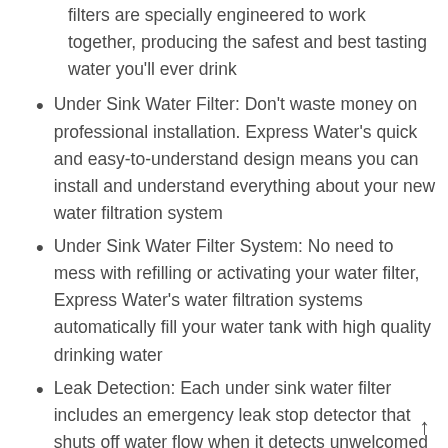filters are specially engineered to work together, producing the safest and best tasting water you'll ever drink
Under Sink Water Filter: Don't waste money on professional installation. Express Water's quick and easy-to-understand design means you can install and understand everything about your new water filtration system
Under Sink Water Filter System: No need to mess with refilling or activating your water filter, Express Water's water filtration systems automatically fill your water tank with high quality drinking water
Leak Detection: Each under sink water filter includes an emergency leak stop detector that shuts off water flow when it detects unwelcomed moisture